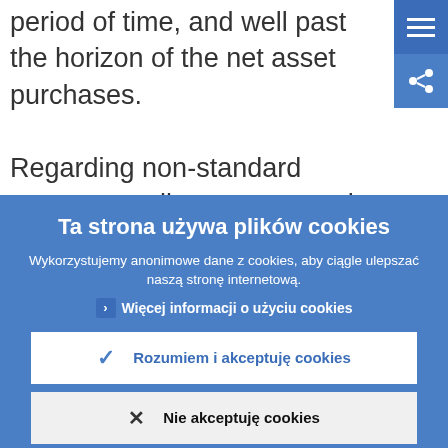period of time, and well past the horizon of the net asset purchases.
Regarding non-standard monetary policy measures, the Governing Council confirmed that the monthly asset purchases of €80
Ta strona używa plików cookies
Wykorzystujemy anonimowe dane z cookies, aby ciągle ulepszać naszą stronę internetową.
Więcej informacji o użyciu cookies
Rozumiem i akceptuję cookies
Nie akceptuję cookies